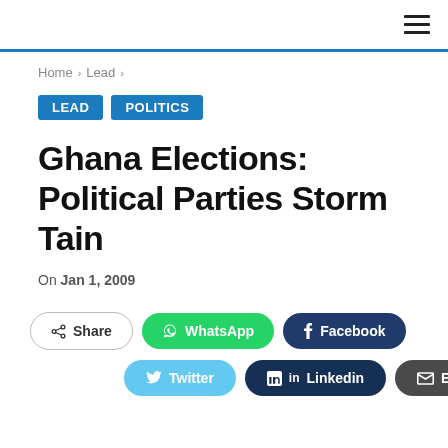≡
Home > Lead >
LEAD  POLITICS
Ghana Elections: Political Parties Storm Tain
On Jan 1, 2009
Share  WhatsApp  Facebook  Twitter  Linkedin  Email